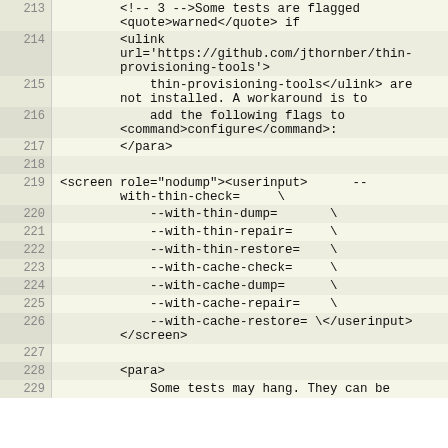213   <!-- 3 -->Some tests are flagged <quote>warned</quote> if
214       <ulink url='https://github.com/jthornber/thin-provisioning-tools'>
215           thin-provisioning-tools</ulink> are not installed. A workaround is to
216           add the following flags to <command>configure</command>:
217       </para>
218
219 <screen role="nodump"><userinput>      --with-thin-check=    \
220           --with-thin-dump=      \
221           --with-thin-repair=    \
222           --with-thin-restore=   \
223           --with-cache-check=    \
224           --with-cache-dump=     \
225           --with-cache-repair=   \
226           --with-cache-restore= \</userinput>
     </screen>
227
228       <para>
229           Some tests may hang. They can be